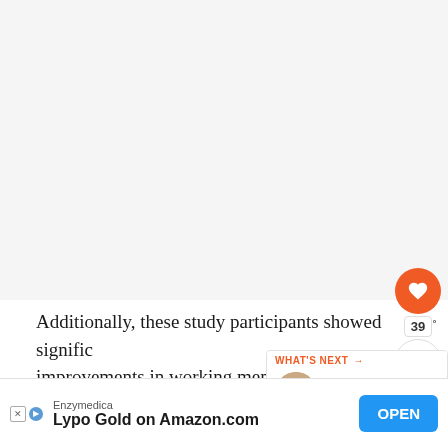[Figure (photo): Large blank/white-grey image area at top of page (image content not visible)]
Additionally, these study participants showed significant improvements in working memory, energy, mood, and stress after taking curcumin for one month.
Curcumin's potent antioxidant and anti-inflammatory properties ... could help break up ... disease.